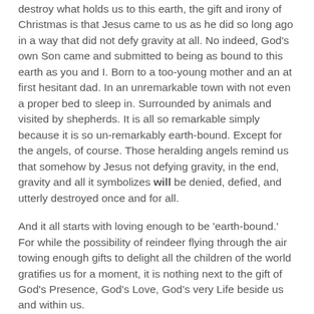destroy what holds us to this earth, the gift and irony of Christmas is that Jesus came to us as he did so long ago in a way that did not defy gravity at all. No indeed, God's own Son came and submitted to being as bound to this earth as you and I. Born to a too-young mother and an at first hesitant dad. In an unremarkable town with not even a proper bed to sleep in. Surrounded by animals and visited by shepherds. It is all so remarkable simply because it is so un-remarkably earth-bound. Except for the angels, of course. Those heralding angels remind us that somehow by Jesus not defying gravity, in the end, gravity and all it symbolizes will be denied, defied, and utterly destroyed once and for all.
And it all starts with loving enough to be 'earth-bound.' For while the possibility of reindeer flying through the air towing enough gifts to delight all the children of the world gratifies us for a moment, it is nothing next to the gift of God's Presence, God's Love, God's very Life beside us and within us.
And as for those other tales of Christmas which our small ones still hold dear? May the generosity and joy they offer